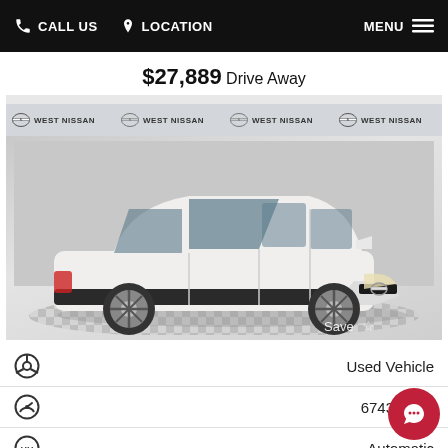CALL US  LOCATION  MENU
[Figure (photo): White Nissan Qashqai SUV photographed in a showroom with West Nissan branded backdrop, checkerboard floor. Price overlay shows $27,889 Drive Away. Save button with star icon in bottom right.]
$27,889 Drive Away
Used Vehicle
67436 kms
Automatic